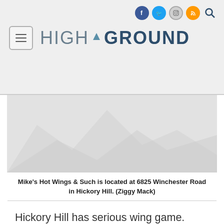HIGH GROUND
[Figure (photo): A faded/watermarked image of Mike's Hot Wings & Such restaurant or food item, shown in grayscale/light tones]
Mike's Hot Wings & Such is located at 6825 Winchester Road in Hickory Hill. (Ziggy Mack)
Hickory Hill has serious wing game. There are plenty of places to chose from and what makes a "good" chicken wing is subjective. Luckily, we have